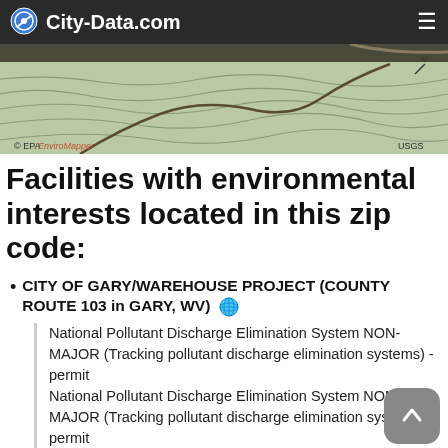City-Data.com
[Figure (map): Topographic map from EPA EnviroMapper and USGS showing terrain with contour lines and roads]
Facilities with environmental interests located in this zip code:
CITY OF GARY/WAREHOUSE PROJECT (COUNTY ROUTE 103 in GARY, WV)
National Pollutant Discharge Elimination System NON-MAJOR (Tracking pollutant discharge elimination systems) - permit
National Pollutant Discharge Elimination System NON-MAJOR (Tracking pollutant discharge elimination systems) - permit
HAZARDOUS WASTE BIENNIAL REPORT (Resource Conservation and Recovery Act